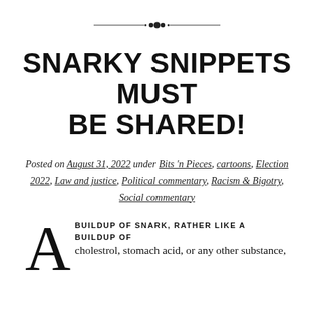[Figure (illustration): Decorative ornamental divider with horizontal lines and a central floral/dot motif]
SNARKY SNIPPETS MUST BE SHARED!
Posted on August 31, 2022 under Bits 'n Pieces, cartoons, Election 2022, Law and justice, Political commentary, Racism & Bigotry, Social commentary
A BUILDUP OF SNARK, RATHER LIKE A BUILDUP OF cholestrol, stomach acid, or any other substance,